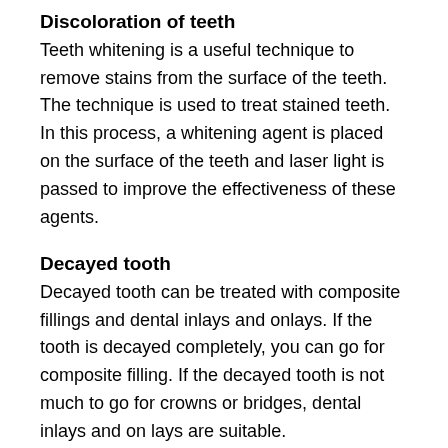Discoloration of teeth
Teeth whitening is a useful technique to remove stains from the surface of the teeth. The technique is used to treat stained teeth. In this process, a whitening agent is placed on the surface of the teeth and laser light is passed to improve the effectiveness of these agents.
Decayed tooth
Decayed tooth can be treated with composite fillings and dental inlays and onlays. If the tooth is decayed completely, you can go for composite filling. If the decayed tooth is not much to go for crowns or bridges, dental inlays and on lays are suitable.
Fractured tooth
If the teeth are fractured, cracked or chipped, dental bonding can be used to join the teeth and strengthen the teeth.